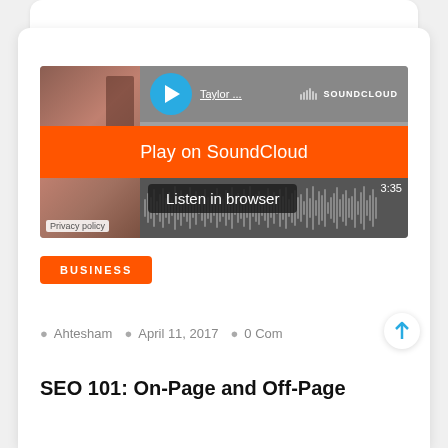[Figure (screenshot): SoundCloud embedded audio player widget showing a play button, track name 'Taylor...', SoundCloud logo, orange 'Play on SoundCloud' button, waveform with timestamp 3:35, 'Listen in browser' button, and Privacy policy text. Thumbnail shows a person figure.]
BUSINESS
Ahtesham  April 11, 2017  0 Com
SEO 101: On-Page and Off-Page